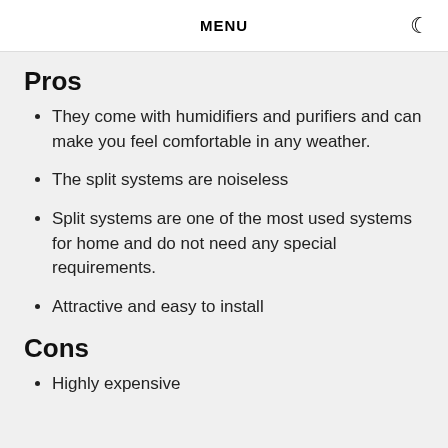MENU
Pros
They come with humidifiers and purifiers and can make you feel comfortable in any weather.
The split systems are noiseless
Split systems are one of the most used systems for home and do not need any special requirements.
Attractive and easy to install
Cons
Highly expensive